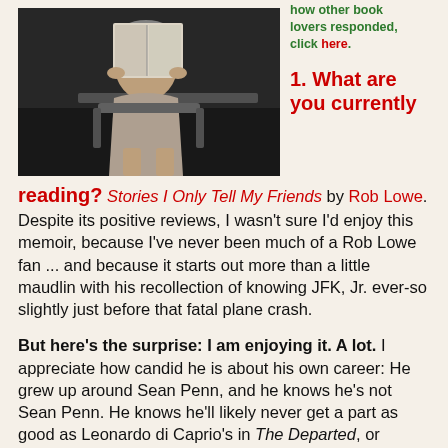[Figure (photo): Person sitting and reading a book/magazine, photographed from a slightly elevated angle]
how other book lovers responded, click here.
1. What are you currently reading?
Stories I Only Tell My Friends by Rob Lowe. Despite its positive reviews, I wasn't sure I'd enjoy this memoir, because I've never been much of a Rob Lowe fan ... and because it starts out more than a little maudlin with his recollection of knowing JFK, Jr. ever-so slightly just before that fatal plane crash.
But here's the surprise: I am enjoying it. A lot. I appreciate how candid he is about his own career: He grew up around Sean Penn, and he knows he's not Sean Penn. He knows he'll likely never get a part as good as Leonardo di Caprio's in The Departed, or Timothy Hutton's in Ordinary People (which he couldn't even get an audition for). He's an actor who wants to work, and takes the best of what he's offered. It's an